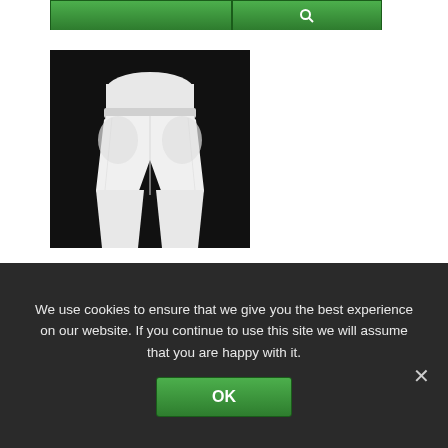[Figure (photo): White hip protector shorts worn by a person, photographed against a dark/black background. The shorts are padded at the hips and extend to mid-thigh.]
Fall Safe Hip Protectors
QUICK VIEW
We use cookies to ensure that we give you the best experience on our website. If you continue to use this site we will assume that you are happy with it.
OK